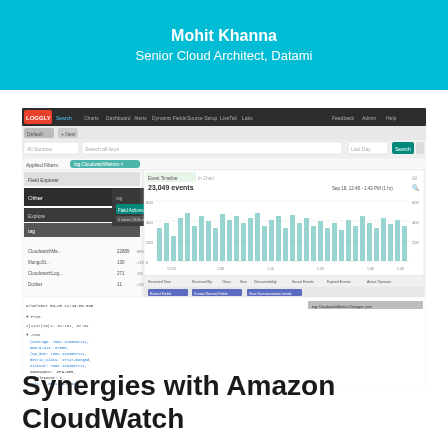Mohit Khanna
Senior Cloud Architect, Datami
[Figure (screenshot): Loggly web interface screenshot showing a search dashboard with a bar chart of 23,049 events over time (Sep 18, 12:48 - 1:43 PM, 1 hr), with field explorer panel on left showing tag filter options, and log event details at the bottom including JSON fields.]
Synergies with Amazon CloudWatch